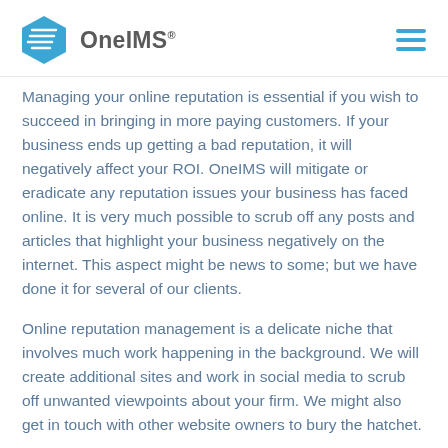OneIMS
Managing your online reputation is essential if you wish to succeed in bringing in more paying customers. If your business ends up getting a bad reputation, it will negatively affect your ROI. OneIMS will mitigate or eradicate any reputation issues your business has faced online. It is very much possible to scrub off any posts and articles that highlight your business negatively on the internet. This aspect might be news to some; but we have done it for several of our clients.
Online reputation management is a delicate niche that involves much work happening in the background. We will create additional sites and work in social media to scrub off unwanted viewpoints about your firm. We might also get in touch with other website owners to bury the hatchet.